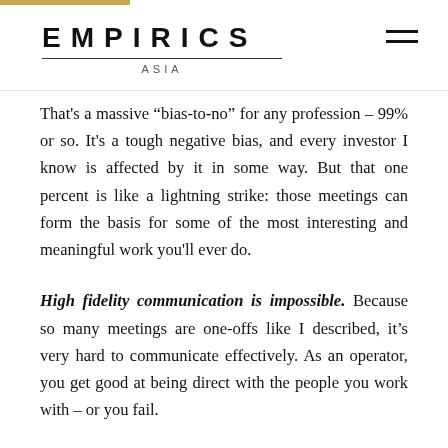EMPIRICS ASIA
That's a massive “bias-to-no” for any profession – 99% or so. It's a tough negative bias, and every investor I know is affected by it in some way. But that one percent is like a lightning strike: those meetings can form the basis for some of the most interesting and meaningful work you'll ever do.
High fidelity communication is impossible. Because so many meetings are one-offs like I described, it’s very hard to communicate effectively. As an operator, you get good at being direct with the people you work with – or you fail.
In the context of a startup, relationships are developed